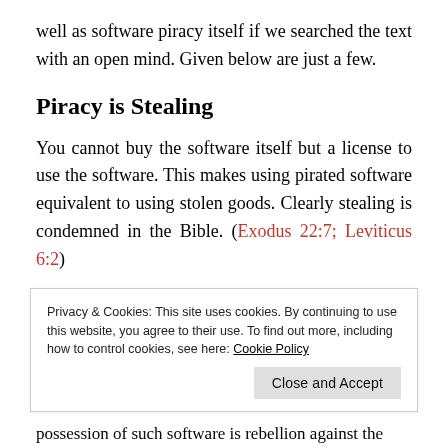well as software piracy itself if we searched the text with an open mind. Given below are just a few.
Piracy is Stealing
You cannot buy the software itself but a license to use the software. This makes using pirated software equivalent to using stolen goods. Clearly stealing is condemned in the Bible. (Exodus 22:7; Leviticus 6:2)
possession of such software is rebellion against the